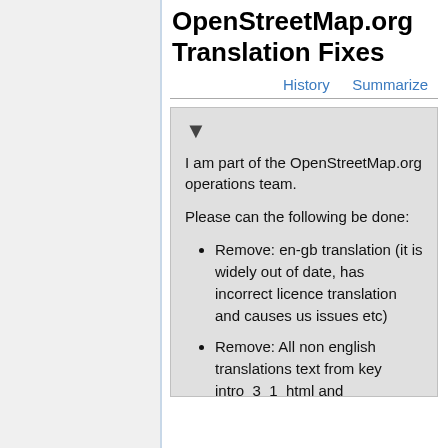OpenStreetMap.org Translation Fixes
History   Summarize
I am part of the OpenStreetMap.org operations team.
Please can the following be done:
Remove: en-gb translation (it is widely out of date, has incorrect licence translation and causes us issues etc)
Remove: All non english translations text from key intro_3_1_html and credit_2_1_html (And clear cache?), we changed EN a long time ago, but incorrect old translations were used in most